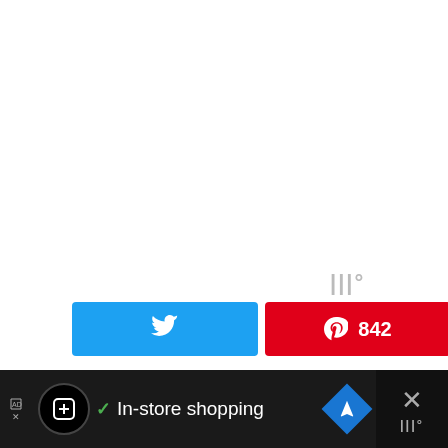[Figure (screenshot): Social share bar with Twitter button, Pinterest button showing 842, Facebook button showing 14, and total 856 SHARES count with share icon. A weather/brand logo in grey appears above right.]
Comments
[Figure (screenshot): Advertisement bar at bottom with dark background: ad tag, circular logo, checkmark, 'In-store shopping' text, blue diamond navigation icon, and dismiss X button with small logo.]